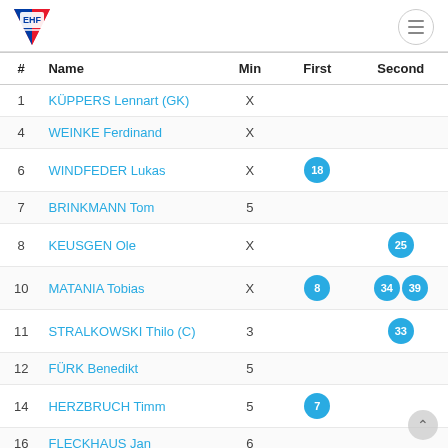[Figure (logo): EHF (European Hockey Federation) logo - triangular shape with red, blue and white colors, letters EHF in white]
| # | Name | Min | First | Second |
| --- | --- | --- | --- | --- |
| 1 | KÜPPERS Lennart (GK) | X |  |  |
| 4 | WEINKE Ferdinand | X |  |  |
| 6 | WINDFEDER Lukas | X | 18 |  |
| 7 | BRINKMANN Tom | 5 |  |  |
| 8 | KEUSGEN Ole | X |  | 25 |
| 10 | MATANIA Tobias | X | 8 | 34 39 |
| 11 | STRALKOWSKI Thilo (C) | 3 |  | 33 |
| 12 | FÜRK Benedikt | 5 |  |  |
| 14 | HERZBRUCH Timm | 5 | 7 |  |
| 16 | FLECKHAUS Jan | 6 |  |  |
| 19 | NITSCHKE Jan | 3 | 14 | 38 |
| 32 | BRINKMANN Björn (GK) |  |  |  |